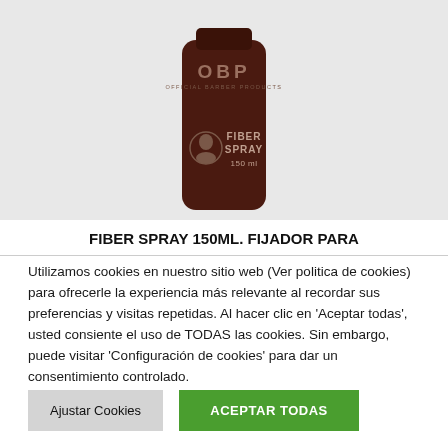[Figure (photo): Dark brown cylindrical bottle of OBP Official Barber Products Fiber Spray 150ml against a light grey background]
FIBER SPRAY 150ML. FIJADOR PARA
Utilizamos cookies en nuestro sitio web (Ver politica de cookies) para ofrecerle la experiencia más relevante al recordar sus preferencias y visitas repetidas. Al hacer clic en 'Aceptar todas', usted consiente el uso de TODAS las cookies. Sin embargo, puede visitar 'Configuración de cookies' para dar un consentimiento controlado.
Ajustar Cookies | ACEPTAR TODAS